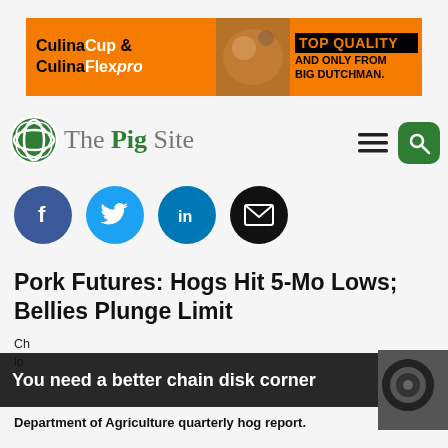[Figure (other): Advertisement banner for CulinaCup & CulinaFlex pro - Top Quality and only from Big Dutchman]
[Figure (logo): The Pig Site logo with green globe icon]
[Figure (other): Social media share buttons: Facebook, Twitter, LinkedIn, Email]
Pork Futures: Hogs Hit 5-Mo Lows; Bellies Plunge Limit
Chicago hog futures hit a five-month low lower than market expected...
[Figure (other): Secondary advertisement overlay: You need a better chain disk corner]
Department of Agriculture quarterly hog report.